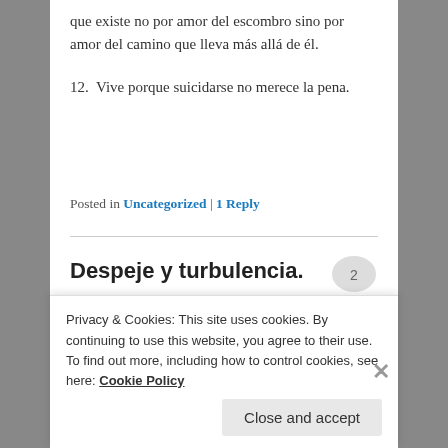que existe no por amor del escombro sino por amor del camino que lleva más allá de él.
12.  Vive porque suicidarse no merece la pena.
Posted in Uncategorized | 1 Reply
Despeje y turbulencia.
Posted on March 3, 2018 by alberto.marciran
Privacy & Cookies: This site uses cookies. By continuing to use this website, you agree to their use.
To find out more, including how to control cookies, see here: Cookie Policy